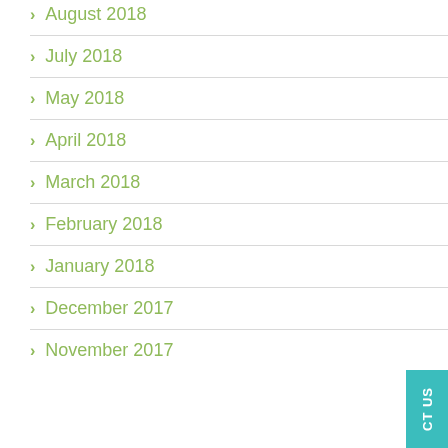August 2018
July 2018
May 2018
April 2018
March 2018
February 2018
January 2018
December 2017
November 2017